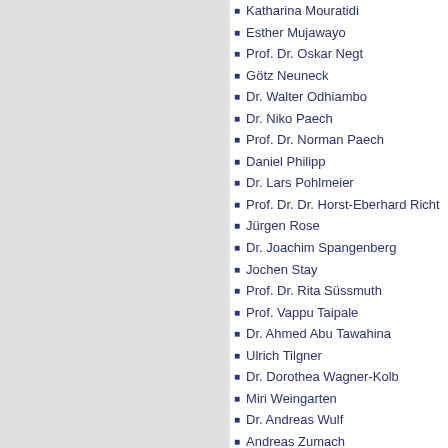Katharina Mouratidi
Esther Mujawayo
Prof. Dr. Oskar Negt
Götz Neuneck
Dr. Walter Odhiambo
Dr. Niko Paech
Prof. Dr. Norman Paech
Daniel Philipp
Dr. Lars Pohlmeier
Prof. Dr. Dr. Horst-Eberhard Richt
Jürgen Rose
Dr. Joachim Spangenberg
Jochen Stay
Prof. Dr. Rita Süssmuth
Prof. Vappu Taipale
Dr. Ahmed Abu Tawahina
Ulrich Tilgner
Dr. Dorothea Wagner-Kolb
Miri Weingarten
Dr. Andreas Wulf
Andreas Zumach
Dr. Neville Alexander
[Figure (photo): Portrait photo of Dr. Neville Alexander]
Neville pioneer Africa